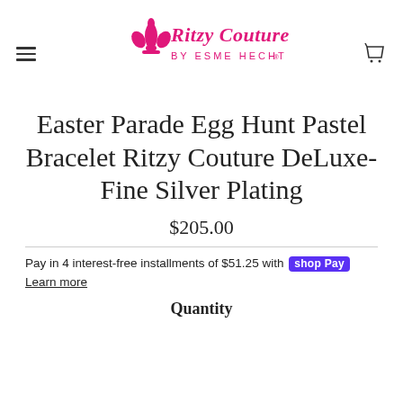Ritzy Couture by Esme Hecht
Easter Parade Egg Hunt Pastel Bracelet Ritzy Couture DeLuxe-Fine Silver Plating
$205.00
Pay in 4 interest-free installments of $51.25 with Shop Pay
Learn more
Quantity